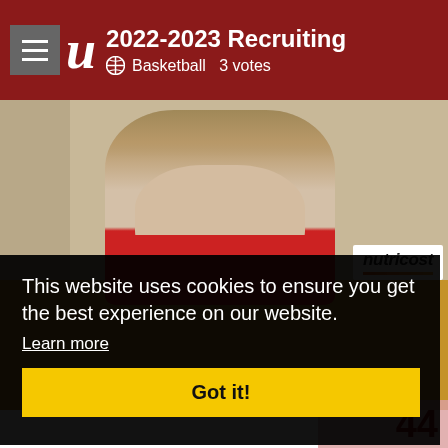2022-2023 Recruiting  Basketball  3 votes
[Figure (photo): Basketball player in red jersey standing in a gym, with a Nutricost banner visible in the background]
This website uses cookies to ensure you get the best experience on our website.
Learn more
Got it!